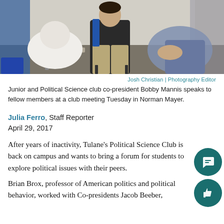[Figure (photo): Photo of students sitting in a circle at a club meeting in a classroom (Norman Mayer building). One person in the center wearing dark shirt and khaki pants, others partially visible on left and right.]
Josh Christian | Photography Editor
Junior and Political Science club co-president Bobby Mannis speaks to fellow members at a club meeting Tuesday in Norman Mayer.
Julia Ferro, Staff Reporter
April 29, 2017
After years of inactivity, Tulane's Political Science Club is back on campus and wants to bring a forum for students to explore political issues with their peers.
Brian Brox, professor of American politics and political behavior, worked with Co-presidents Jacob Beeber, Emily Monahan and Bobby Mannis during the semester to